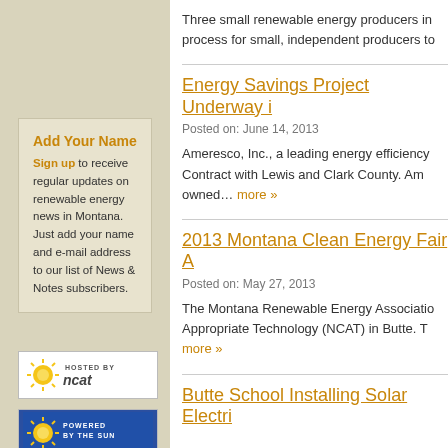Three small renewable energy producers in... process for small, independent producers to...
Energy Savings Project Underway i...
Posted on: June 14, 2013
Ameresco, Inc., a leading energy efficiency... Contract with Lewis and Clark County. Am... owned… more »
2013 Montana Clean Energy Fair A...
Posted on: May 27, 2013
The Montana Renewable Energy Associatio... Appropriate Technology (NCAT) in Butte. T... more »
Butte School Installing Solar Electri...
Add Your Name
Sign up to receive regular updates on renewable energy news in Montana. Just add your name and e-mail address to our list of News & Notes subscribers.
[Figure (logo): Hosted By NCAT badge with sun icon]
[Figure (logo): Powered By The Sun badge with sun/gears icon on blue background]